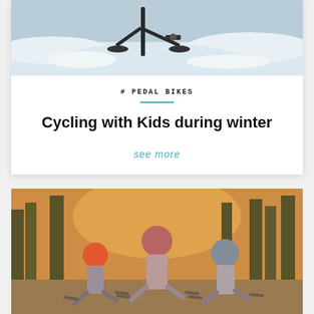[Figure (photo): Snowy winter scene with a bicycle, snow on the ground and handlebars visible]
# PEDAL BIKES
Cycling with Kids during winter
see more
[Figure (photo): Three children wearing helmets riding bicycles, viewed from behind, with trees and warm sunlight in background]